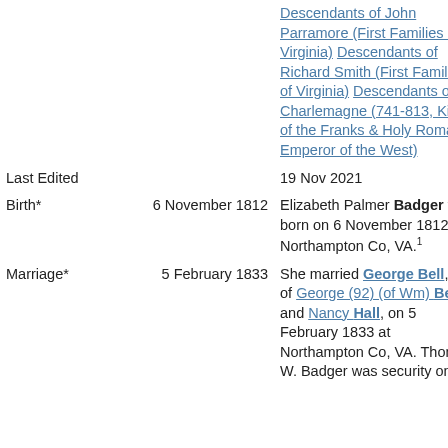|  |  | Descendants of John Parramore (First Families of Virginia) Descendants of Richard Smith (First Families of Virginia) Descendants of Charlemagne (741-813, King of the Franks & Holy Roman Emperor of the West) |
| Last Edited |  | 19 Nov 2021 |
| Birth* | 6 November 1812 | Elizabeth Palmer Badger was born on 6 November 1812 at Northampton Co, VA.1 |
| Marriage* | 5 February 1833 | She married George Bell, son of George (92) (of Wm) Bell and Nancy Hall, on 5 February 1833 at Northampton Co, VA. Thomas W. Badger was security on the |